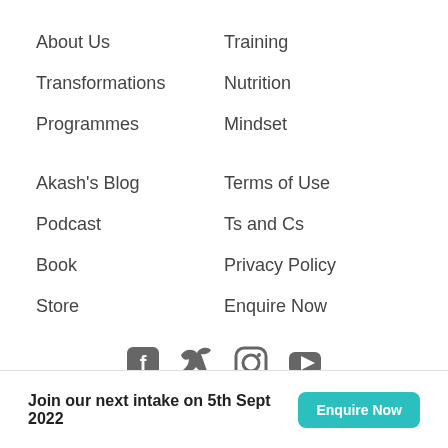About Us
Training
Transformations
Nutrition
Programmes
Mindset
Akash's Blog
Terms of Use
Podcast
Ts and Cs
Book
Privacy Policy
Store
Enquire Now
[Figure (infographic): Social media icons: Facebook, Twitter, Instagram, YouTube]
Copyright © 2022 Results Now Training Ltd. All rights reserved.
Join our next intake on 5th Sept 2022
Enquire Now